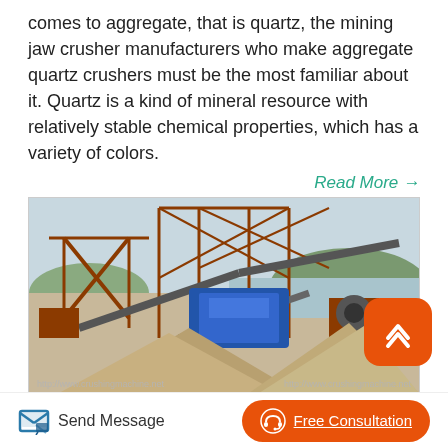comes to aggregate, that is quartz, the mining jaw crusher manufacturers who make aggregate quartz crushers must be the most familiar about it. Quartz is a kind of mineral resource with relatively stable chemical properties, which has a variety of colors.
Read More →
[Figure (photo): Outdoor mining aggregate crushing plant with conveyor belts, structural steel framework, blue machinery, and large piles of sand/gravel in the foreground. Watermarks: http://www.crushingmachine.net on both sides.]
Ore Crusher Stone Crusher Crusher Price Crusher Manufactur
Send Message
Free Consultation